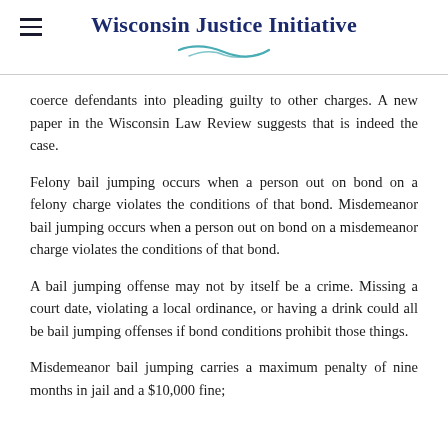Wisconsin Justice Initiative
coerce defendants into pleading guilty to other charges. A new paper in the Wisconsin Law Review suggests that is indeed the case.
Felony bail jumping occurs when a person out on bond on a felony charge violates the conditions of that bond. Misdemeanor bail jumping occurs when a person out on bond on a misdemeanor charge violates the conditions of that bond.
A bail jumping offense may not by itself be a crime. Missing a court date, violating a local ordinance, or having a drink could all be bail jumping offenses if bond conditions prohibit those things.
Misdemeanor bail jumping carries a maximum penalty of nine months in jail and a $10,000 fine; felony bail jumping carries a maximum penalty of…